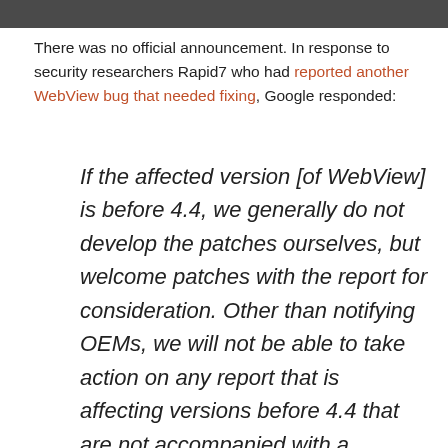There was no official announcement. In response to security researchers Rapid7 who had reported another WebView bug that needed fixing, Google responded:
If the affected version [of WebView] is before 4.4, we generally do not develop the patches ourselves, but welcome patches with the report for consideration. Other than notifying OEMs, we will not be able to take action on any report that is affecting versions before 4.4 that are not accompanied with a